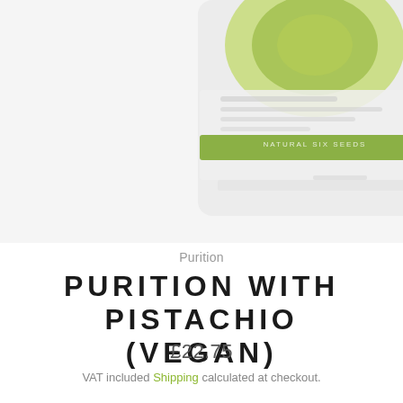[Figure (photo): Partially visible product container for Purition with Pistachio (Vegan), showing a green and white round canister lid with a green band label, on a white background.]
Purition
PURITION WITH PISTACHIO (VEGAN)
£22.75
VAT included Shipping calculated at checkout.
SIZE
QUANTITY